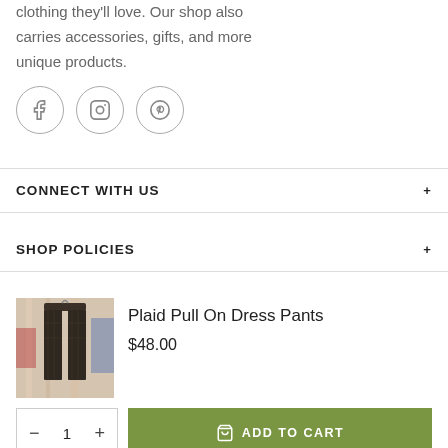clothing they'll love. Our shop also carries accessories, gifts, and more unique products.
[Figure (illustration): Three social media icons in circles: Facebook (f), Instagram (camera), Pinterest (P)]
CONNECT WITH US
SHOP POLICIES
[Figure (photo): Product photo: Plaid Pull On Dress Pants, dark plaid trousers on a hanger in a store]
Plaid Pull On Dress Pants
$48.00